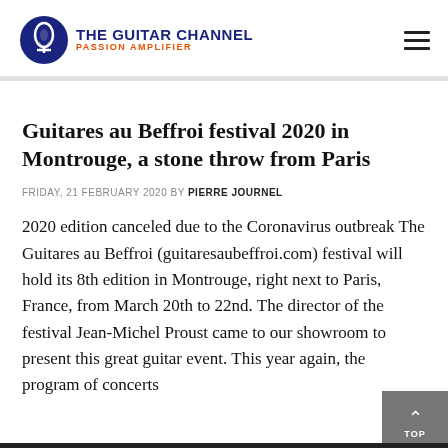THE GUITAR CHANNEL PASSION AMPLIFIER
Guitares au Beffroi festival 2020 in Montrouge, a stone throw from Paris
FRIDAY, 21 FEBRUARY 2020 BY PIERRE JOURNEL
2020 edition canceled due to the Coronavirus outbreak The Guitares au Beffroi (guitaresaubeffroi.com) festival will hold its 8th edition in Montrouge, right next to Paris, France, from March 20th to 22nd. The director of the festival Jean-Michel Proust came to our showroom to present this great guitar event. This year again, the program of concerts